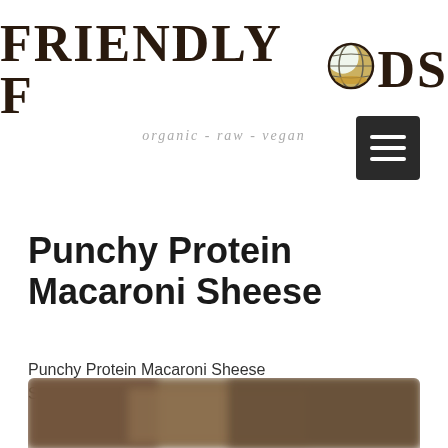FRIENDLY FOODS — organic - raw - vegan
[Figure (logo): Friendly Foods logo with globe icon replacing double-O in FOODS, tagline: organic - raw - vegan]
[Figure (other): Hamburger menu button (three horizontal lines on dark background)]
Punchy Protein Macaroni Sheese
Punchy Protein Macaroni Sheese
Serves 4
[Figure (photo): Partially visible blurred food photo at the bottom of the page]